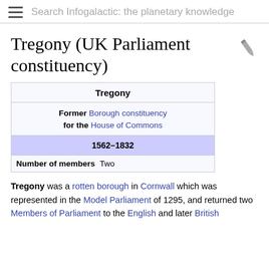Search Infogalactic: the planetary knowledge
Tregony (UK Parliament constituency)
| Tregony |
| --- |
| Former Borough constituency for the House of Commons |
| 1562–1832 |
| Number of members | Two |
Tregony was a rotten borough in Cornwall which was represented in the Model Parliament of 1295, and returned two Members of Parliament to the English and later British